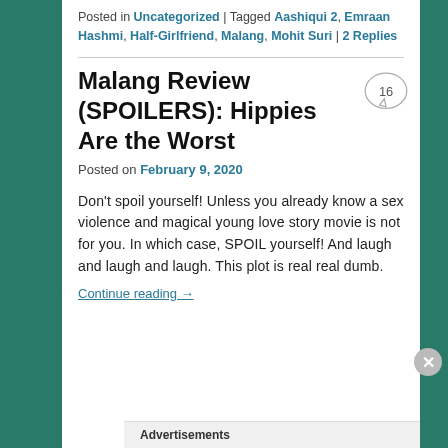Posted in Uncategorized | Tagged Aashiqui 2, Emraan Hashmi, Half-Girlfriend, Malang, Mohit Suri | 2 Replies
Malang Review (SPOILERS): Hippies Are the Worst
Posted on February 9, 2020
Don't spoil yourself! Unless you already know a sex violence and magical young love story movie is not for you. In which case, SPOIL yourself! And laugh and laugh and laugh. This plot is real real dumb.
Advertisements